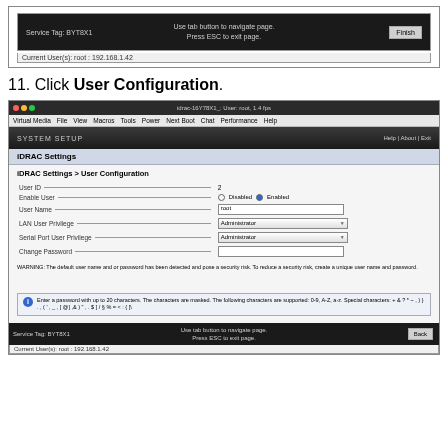[Figure (screenshot): Top screenshot showing DRAC system setup page with Finish button and status bar showing Current User(s): root : 192.168.1.42]
11. Click User Configuration.
[Figure (screenshot): Main screenshot of iDRAC remote console showing DRAC Settings > User Configuration page with fields: User ID=2, Enable User=Enabled, User Name=root, LAN User Privilege=Administrator, Serial Port User Privilege=Administrator, Change Password (empty). Warning text and info box about password characters shown at bottom.]